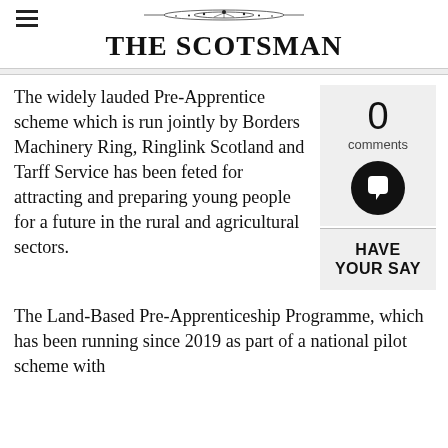THE SCOTSMAN
The widely lauded Pre-Apprentice scheme which is run jointly by Borders Machinery Ring, Ringlink Scotland and Tarff Service has been feted for attracting and preparing young people for a future in the rural and agricultural sectors.
0 comments
HAVE YOUR SAY
The Land-Based Pre-Apprenticeship Programme, which has been running since 2019 as part of a national pilot scheme with